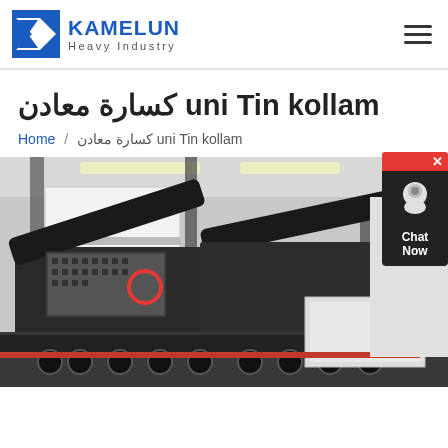KAMELUN Heavy Industry
كسارة معادن uni Tin kollam
Home / كسارة معادن uni Tin kollam
[Figure (photo): Industrial heavy machinery — mobile crushing/screening plant with conveyor belts, mounted on a semi-trailer, photographed inside a large industrial facility with steel structure and overhead lighting.]